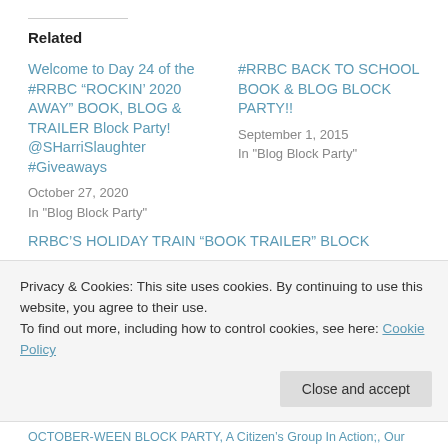Related
Welcome to Day 24 of the #RRBC “ROCKIN’ 2020 AWAY” BOOK, BLOG & TRAILER Block Party! @SHarriSlaughter #Giveaways
October 27, 2020
In "Blog Block Party"
#RRBC BACK TO SCHOOL BOOK & BLOG BLOCK PARTY!!
September 1, 2015
In "Blog Block Party"
RRBC’S HOLIDAY TRAIN “BOOK TRAILER” BLOCK
Privacy & Cookies: This site uses cookies. By continuing to use this website, you agree to their use.
To find out more, including how to control cookies, see here: Cookie Policy
OCTOBER-WEEN BLOCK PARTY, A Citizen’s Group In Action;, Our